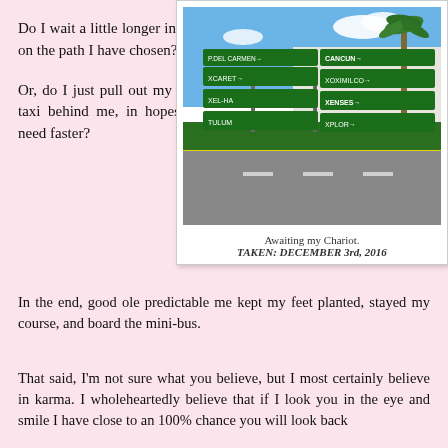Do I wait a little longer in hopes of continuing on the path I have chosen?
[Figure (photo): Road intersection in Mexico with green direction signs pointing to Cancun, Xoximilco, Xcaret, Xel-Ha, Xenses, Tulum, Xplor. A palm tree and modern building visible in the background under blue sky.]
Awaiting my Chariot.
TAKEN: DECEMBER 3rd, 2016
Or, do I just pull out my credit card, take the taxi behind me, in hopes of finding what I need faster?
In the end, good ole predictable me kept my feet planted, stayed my course, and board the mini-bus.
That said, I'm not sure what you believe, but I most certainly believe in karma. I wholeheartedly believe that if I look you in the eye and smile I have close to an 100% chance you will look back